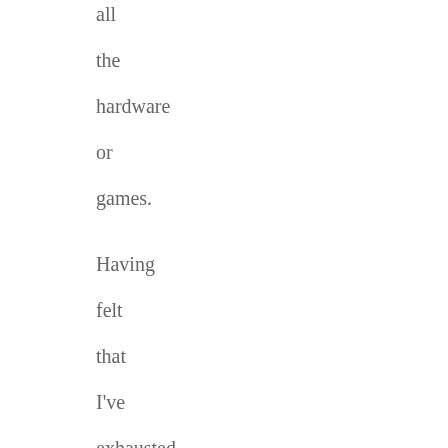all
the
hardware
or
games.

Having
felt
that
I've
exhausted
the
console
market,
I
next
turned
to
trying
to
find
computer
software